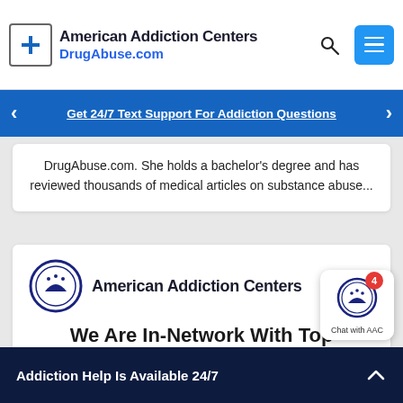American Addiction Centers DrugAbuse.com
Get 24/7 Text Support For Addiction Questions
DrugAbuse.com. She holds a bachelor's degree and has reviewed thousands of medical articles on substance abuse...
[Figure (logo): American Addiction Centers logo with circular emblem and text]
We Are In-Network With Top Insurance Providers
[Figure (logo): Chat with AAC widget showing circular AAC logo with badge showing 4]
Addiction Help Is Available 24/7